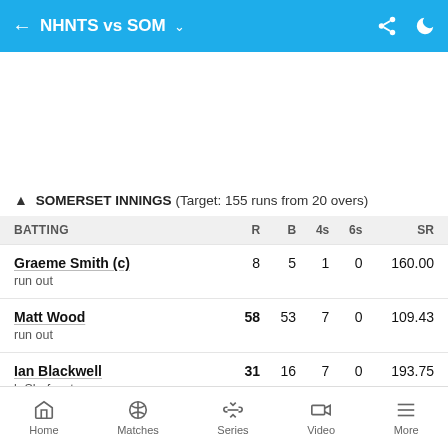NHNTS vs SOM
SOMERSET INNINGS (Target: 155 runs from 20 overs)
| BATTING | R | B | 4s | 6s | SR |
| --- | --- | --- | --- | --- | --- |
| Graeme Smith (c)
run out | 8 | 5 | 1 | 0 | 160.00 |
| Matt Wood
run out | 58 | 53 | 7 | 0 | 109.43 |
| Ian Blackwell
b Shafayat | 31 | 16 | 7 | 0 | 193.75 |
Home  Matches  Series  Video  More